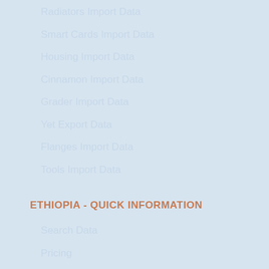Radiators Import Data
Smart Cards Import Data
Housing Import Data
Cinnamon Import Data
Grader Import Data
Yet Export Data
Flanges Import Data
Tools Import Data
ETHIOPIA - QUICK INFORMATION
Search Data
Pricing
Download Data Sample
Product Wise Import Data